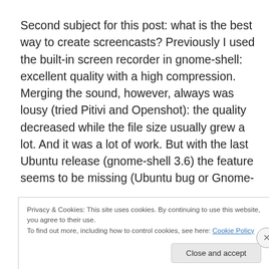Second subject for this post: what is the best way to create screencasts? Previously I used the built-in screen recorder in gnome-shell: excellent quality with a high compression. Merging the sound, however, always was lousy (tried Pitivi and Openshot): the quality decreased while the file size usually grew a lot. And it was a lot of work. But with the last Ubuntu release (gnome-shell 3.6) the feature seems to be missing (Ubuntu bug or Gnome-
Privacy & Cookies: This site uses cookies. By continuing to use this website, you agree to their use.
To find out more, including how to control cookies, see here: Cookie Policy
Close and accept